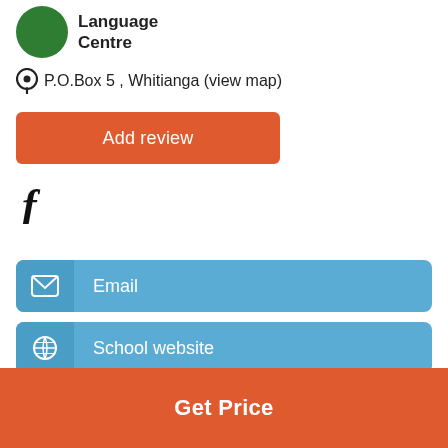[Figure (logo): Green circle logo with 'Language Centre' text]
P.O.Box 5 , Whitianga (view map)
Add review
[Figure (illustration): Facebook 'f' icon]
Email
School website
Show Phone
Get Price